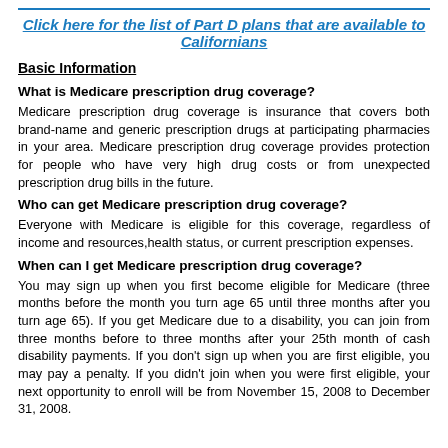Click here for the list of Part D plans that are available to Californians
Basic Information
What is Medicare prescription drug coverage?
Medicare prescription drug coverage is insurance that covers both brand-name and generic prescription drugs at participating pharmacies in your area. Medicare prescription drug coverage provides protection for people who have very high drug costs or from unexpected prescription drug bills in the future.
Who can get Medicare prescription drug coverage?
Everyone with Medicare is eligible for this coverage, regardless of income and resources,health status, or current prescription expenses.
When can I get Medicare prescription drug coverage?
You may sign up when you first become eligible for Medicare (three months before the month you turn age 65 until three months after you turn age 65). If you get Medicare due to a disability, you can join from three months before to three months after your 25th month of cash disability payments. If you don't sign up when you are first eligible, you may pay a penalty. If you didn't join when you were first eligible, your next opportunity to enroll will be from November 15, 2008 to December 31, 2008.